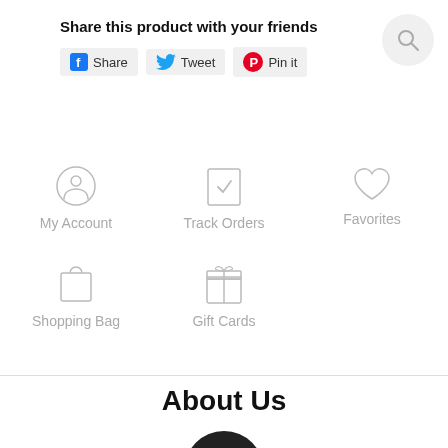Share this product with your friends
Share
Tweet
Pin it
[Figure (infographic): Navigation icons grid: My Account (person icon), Track Orders (checklist icon), Favorites (heart icon), Shopping Bag (bag icon), Gift Cards (gift box icon)]
About Us